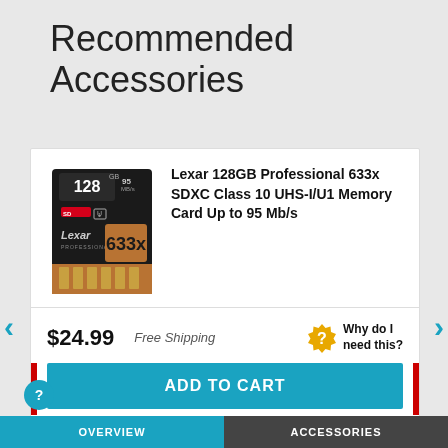Recommended Accessories
[Figure (photo): Lexar 128GB Professional 633x SDXC memory card product image]
Lexar 128GB Professional 633x SDXC Class 10 UHS-I/U1 Memory Card Up to 95 Mb/s
$24.99
Free Shipping
Why do I need this?
ADD TO CART
OVERVIEW  ACCESSORIES